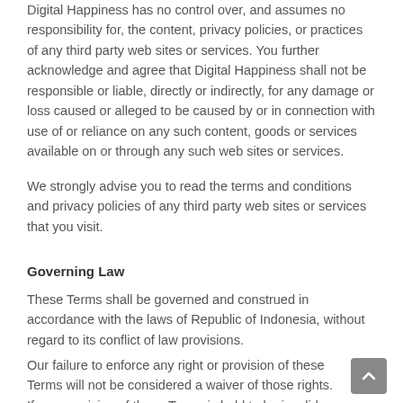Digital Happiness has no control over, and assumes no responsibility for, the content, privacy policies, or practices of any third party web sites or services. You further acknowledge and agree that Digital Happiness shall not be responsible or liable, directly or indirectly, for any damage or loss caused or alleged to be caused by or in connection with use of or reliance on any such content, goods or services available on or through any such web sites or services.
We strongly advise you to read the terms and conditions and privacy policies of any third party web sites or services that you visit.
Governing Law
These Terms shall be governed and construed in accordance with the laws of Republic of Indonesia, without regard to its conflict of law provisions.
Our failure to enforce any right or provision of these Terms will not be considered a waiver of those rights. If any provision of these Terms is held to be invalid or unenforceable by a court